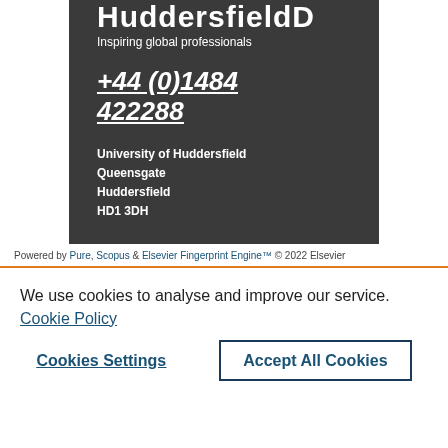HUDDERSFIELD
Inspiring global professionals
+44 (0)1484 422288
University of Huddersfield
Queensgate
Huddersfield
HD1 3DH
Powered by Pure, Scopus & Elsevier Fingerprint Engine™ © 2022 Elsevier
We use cookies to analyse and improve our service. Cookie Policy
Cookies Settings
Accept All Cookies